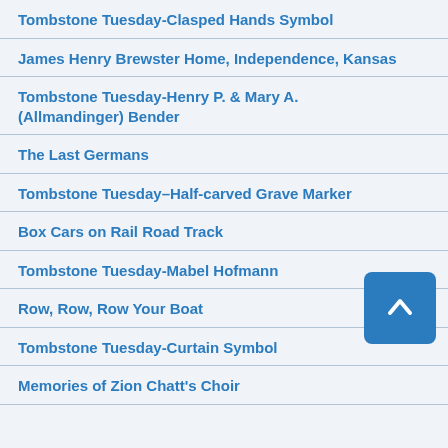Tombstone Tuesday-Clasped Hands Symbol
James Henry Brewster Home, Independence, Kansas
Tombstone Tuesday-Henry P. & Mary A. (Allmandinger) Bender
The Last Germans
Tombstone Tuesday–Half-carved Grave Marker
Box Cars on Rail Road Track
Tombstone Tuesday-Mabel Hofmann
Row, Row, Row Your Boat
Tombstone Tuesday-Curtain Symbol
Memories of Zion Chatt's Choir